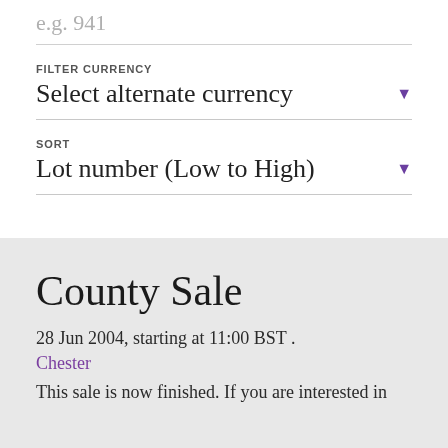e.g. 941
FILTER CURRENCY
Select alternate currency
SORT
Lot number (Low to High)
County Sale
28 Jun 2004, starting at 11:00 BST .
Chester
This sale is now finished. If you are interested in